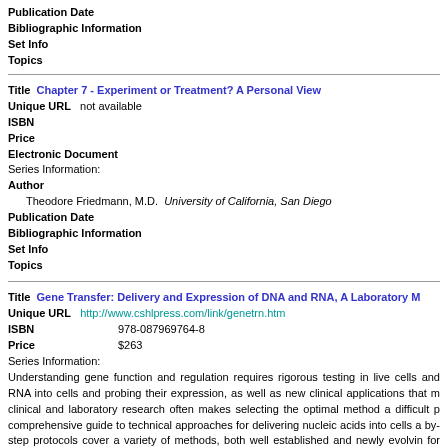Publication Date
Bibliographic Information
Set Info
Topics
Title  Chapter 7 - Experiment or Treatment? A Personal View
Unique URL   not available
ISBN
Price
Electronic Document
Series Information:
Author
  Theodore Friedmann, M.D.  University of California, San Diego
Publication Date
Bibliographic Information
Set Info
Topics
Title  Gene Transfer: Delivery and Expression of DNA and RNA, A Laboratory M...
Unique URL  http://www.cshlpress.com/link/genetrn.htm
ISBN  978-087969764-8
Price  $263
Series Information:
Understanding gene function and regulation requires rigorous testing in live cells and RNA into cells and probing their expression, as well as new clinical applications that m clinical and laboratory research often makes selecting the optimal method a difficult p comprehensive guide to technical approaches for delivering nucleic acids into cells a by-step protocols cover a variety of methods, both well established and newly evolvin for the regulation of transgene expression, and modification of the host response. The considerations for selection of the appropriate system and strategies for delivery.
Editor
  Theodore Friedmann  University of California, San Diego
Publication Date  2007/2007
Bibliographic Information